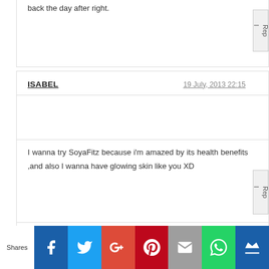back the day after right.
ISABEL   19 July, 2013 22:15
I wanna try SoyaFitz because i'm amazed by its health benefits ,and also I wanna have glowing skin like you XD
ISABEL   25 July, 2013 23:37
Final year is busier and tougher. I didn't work out for few months. Even constipation found me. =/ So it would be great if i won the giveaway. Thank you!